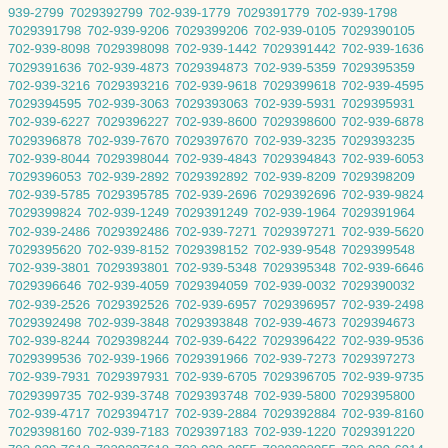939-2799 7029392799 702-939-1779 7029391779 702-939-1798 7029391798 702-939-9206 7029399206 702-939-0105 7029390105 702-939-8098 7029398098 702-939-1442 7029391442 702-939-1636 7029391636 702-939-4873 7029394873 702-939-5359 7029395359 702-939-3216 7029393216 702-939-9618 7029399618 702-939-4595 7029394595 702-939-3063 7029393063 702-939-5931 7029395931 702-939-6227 7029396227 702-939-8600 7029398600 702-939-6878 7029396878 702-939-7670 7029397670 702-939-3235 7029393235 702-939-8044 7029398044 702-939-4843 7029394843 702-939-6053 7029396053 702-939-2892 7029392892 702-939-8209 7029398209 702-939-5785 7029395785 702-939-2696 7029392696 702-939-9824 7029399824 702-939-1249 7029391249 702-939-1964 7029391964 702-939-2486 7029392486 702-939-7271 7029397271 702-939-5620 7029395620 702-939-8152 7029398152 702-939-9548 7029399548 702-939-3801 7029393801 702-939-5348 7029395348 702-939-6646 7029396646 702-939-4059 7029394059 702-939-0032 7029390032 702-939-2526 7029392526 702-939-6957 7029396957 702-939-2498 7029392498 702-939-3848 7029393848 702-939-4673 7029394673 702-939-8244 7029398244 702-939-6422 7029396422 702-939-9536 7029399536 702-939-1966 7029391966 702-939-7273 7029397273 702-939-7931 7029397931 702-939-6705 7029396705 702-939-9735 7029399735 702-939-3748 7029393748 702-939-5800 7029395800 702-939-4717 7029394717 702-939-2884 7029392884 702-939-8160 7029398160 702-939-7183 7029397183 702-939-1220 7029391220 702-939-7618 7029397618 702-939-2955 7029392955 702-939-6914 7029396914 702-939-7799 7029397799 702-939-8377 7029398377 702-939-8194 7029398194 702-939-9785 7029399785 702-939-7722